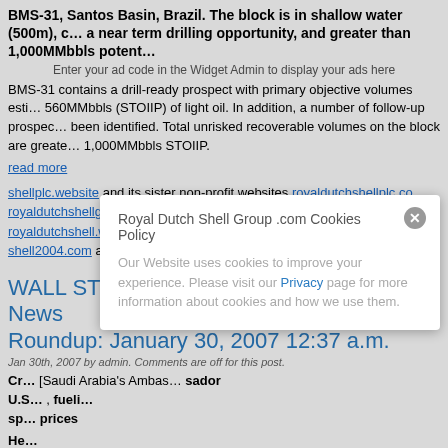BMS-31, Santos Basin, Brazil. The block is in shallow water (500m), c… a near term drilling opportunity, and greater than 1,000MMbbls potent…
Enter your ad code in the Widget Admin to display your ads here
BMS-31 contains a drill-ready prospect with primary objective volumes esti… 560MMbbls (STOIIP) of light oil. In addition, a number of follow-up prospec… been identified. Total unrisked recoverable volumes on the block are greate… 1,000MMbbls STOIIP.
read more
shellplc.website and its sister non-profit websites royaldutchshellplc.co… royaldutchshellgroup.com, shellenergy.website, shellnazihistory.com… royaldutchshell.website, johndonovan.website, shellnews.net and shell2004.com are owned by John Donovan. There is also a Wikipedia f…
WALL STREET JOURNAL ONLINE: Oil News Roundup: January 30, 2007 12:37 a.m.
Jan 30th, 2007 by admin. Comments are off for this post.
Cru… [Saudi Arabia's Ambassador] U.S… , fueli… sp… prices He…